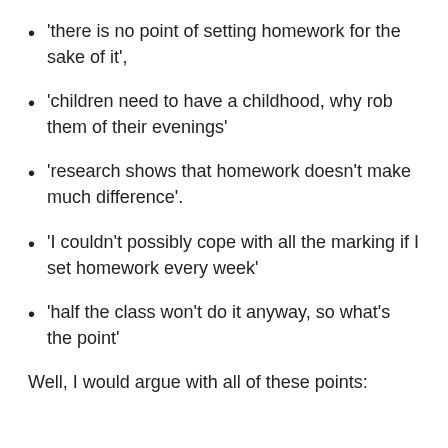‘there is no point of setting homework for the sake of it’,
‘children need to have a childhood, why rob them of their evenings’
‘research shows that homework doesn’t make much difference’.
‘I couldn’t possibly cope with all the marking if I set homework every week’
‘half the class won’t do it anyway, so what’s the point’
Well, I would argue with all of these points: